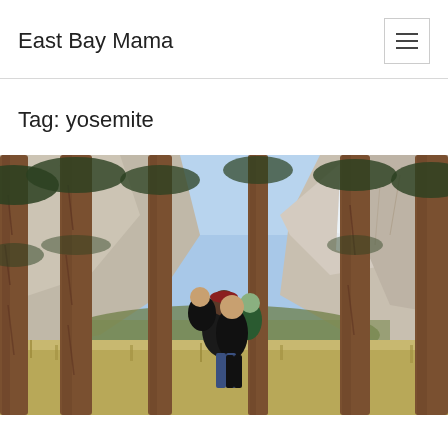East Bay Mama
Tag: yosemite
[Figure (photo): Family photo at Yosemite National Park. Adults and children posed among tall pine trees with a large granite cliff face and waterfall in the background. Clear blue sky. The family is smiling and holding children.]